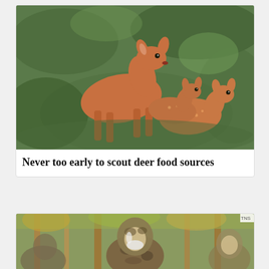[Figure (photo): A doe deer standing in a green leafy field with two spotted fawns resting and nuzzling beside her]
Never too early to scout deer food sources
[Figure (photo): A person in camouflage hunting gear standing in a forest with trees and autumn foliage in the background; another person partially visible at right]